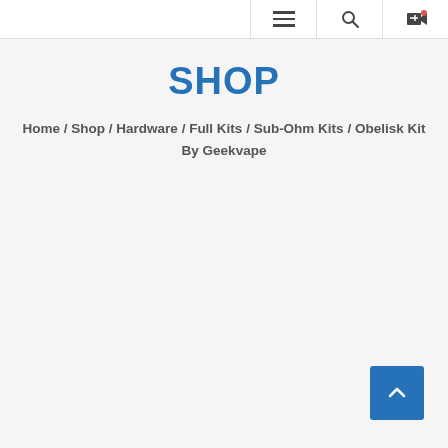[Navigation bar with hamburger menu, search icon, and cart icon]
SHOP
Home / Shop / Hardware / Full Kits / Sub-Ohm Kits / Obelisk Kit By Geekvape